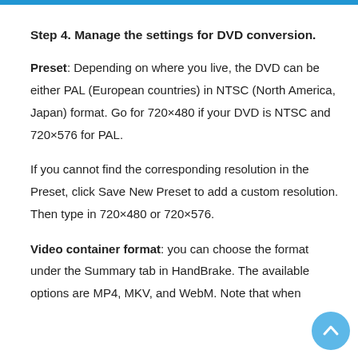Step 4. Manage the settings for DVD conversion.
Preset: Depending on where you live, the DVD can be either PAL (European countries) in NTSC (North America, Japan) format. Go for 720×480 if your DVD is NTSC and 720×576 for PAL.
If you cannot find the corresponding resolution in the Preset, click Save New Preset to add a custom resolution. Then type in 720×480 or 720×576.
Video container format: you can choose the format under the Summary tab in HandBrake. The available options are MP4, MKV, and WebM. Note that when